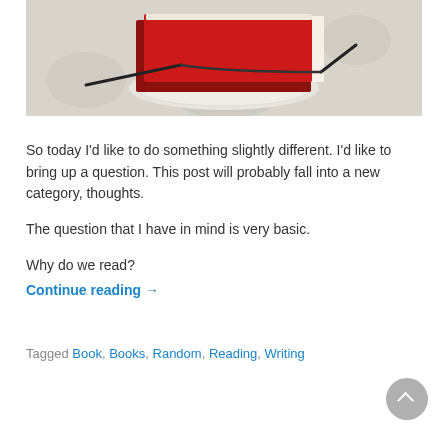[Figure (photo): A red hardcover book resting on a plate, with a pair of eyeglasses beside it, on a decorated tablecloth background.]
So today I'd like to do something slightly different. I'd like to bring up a question. This post will probably fall into a new category, thoughts.
The question that I have in mind is very basic.
Why do we read?
Continue reading →
Tagged Book, Books, Random, Reading, Writing